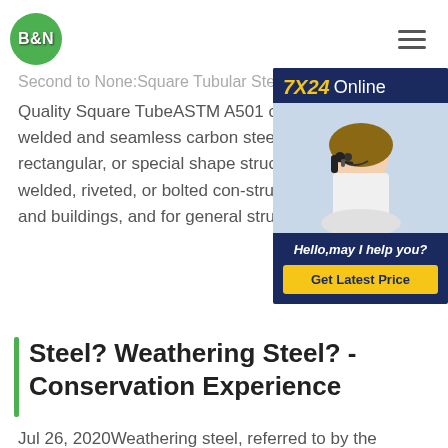B&N
Second to None:Square Tubular Steel
Quality Square TubeASTM A501 covers welded and seamless carbon steel square, rectangular, or special shape structural welded, riveted, or bolted con-structions and buildings, and for general structural
[Figure (photo): 7X24 Online customer service representative wearing headset, with Hello,may I help you? text and Get Latest Price button]
Steel? Weathering Steel? - Conservation Experience
Jul 26, 2020Weathering steel, referred to by the trademark COR-TEN steel and Corten steel, is a low-carbon steel alloy developed to eliminate the need for painting and forms a stable rust-like appearance